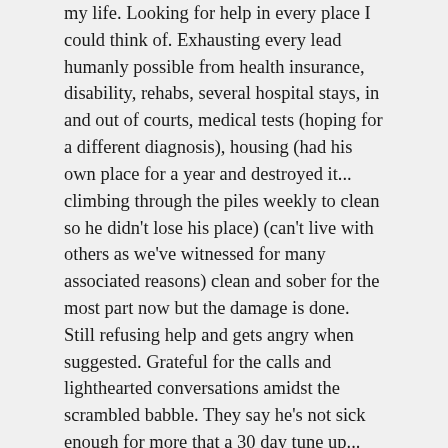my life. Looking for help in every place I could think of. Exhausting every lead humanly possible from health insurance, disability, rehabs, several hospital stays, in and out of courts, medical tests (hoping for a different diagnosis), housing (had his own place for a year and destroyed it... climbing through the piles weekly to clean so he didn't lose his place) (can't live with others as we've witnessed for many associated reasons) clean and sober for the most part now but the damage is done. Still refusing help and gets angry when suggested. Grateful for the calls and lighthearted conversations amidst the scrambled babble. They say he's not sick enough for more that a 30 day tune up... been there too many times to count.